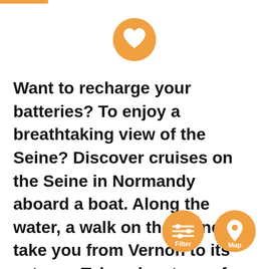[Figure (screenshot): Orange header bar at top left]
[Figure (illustration): Orange circle with white heart icon in center top]
Want to recharge your batteries? To enjoy a breathtaking view of the Seine? Discover cruises on the Seine in Normandy aboard a boat. Along the water, a walk on the Seine will take you from Vernon to its estuary. Take advantage of a family river cruise to rub shoulders with barges along the loops of the Norman
[Figure (illustration): Orange circle button with filter/sliders icon and text Filter]
[Figure (illustration): Orange circle button with map pin icon and text Map]